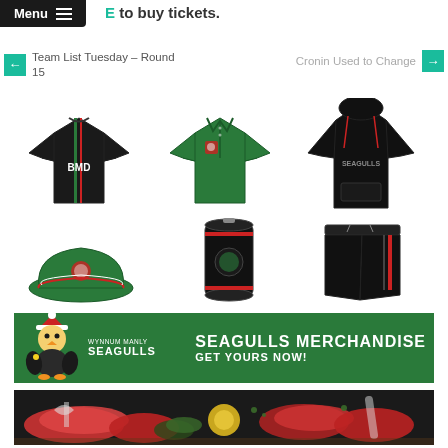Menu | E to buy tickets.
← Team List Tuesday – Round 15
Cronin Used to Change →
[Figure (photo): Six Wynnum Manly Seagulls merchandise items: black BMD jersey, green polo shirt, black Seagulls hoodie, green bucket hat, black stubby holder with club logo, black shorts with red stripe]
[Figure (infographic): Seagulls Merchandise banner: green background with Wynnum Manly Seagulls Christmas mascot on left, text SEAGULLS MERCHANDISE GET YOURS NOW! and Wynnum Manly Seagulls logo on left]
[Figure (photo): Bottom strip showing raw meat, vegetables and food items on dark background]